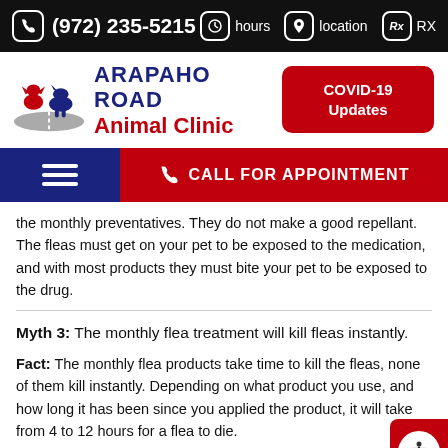(972) 235-5215  hours  location  RX
[Figure (logo): Arapaho Road Animal Clinic logo with cat and dog silhouettes on a road graphic]
ARAPAHO ROAD Animal Clinic
COVID-19 Updates
[Figure (infographic): Navigation bar with hamburger menu on dark blue left and red CALL FOR APPOINTMENT button on right]
the monthly preventatives. They do not make a good repellant. The fleas must get on your pet to be exposed to the medication, and with most products they must bite your pet to be exposed to the drug.
Myth 3: The monthly flea treatment will kill fleas instantly.
Fact: The monthly flea products take time to kill the fleas, none of them kill instantly. Depending on what product you use, and how long it has been since you applied the product, it will take from 4 to 12 hours for a flea to die.